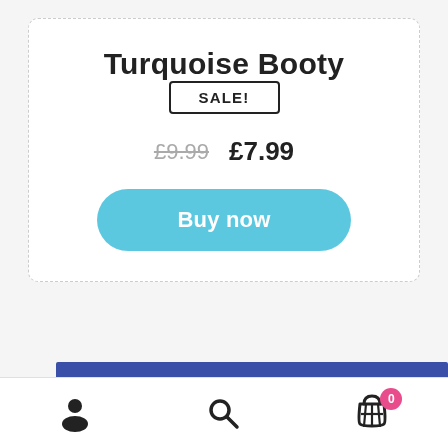Turquoise Booty
SALE!
£9.99  £7.99
Buy now
[Figure (other): Bottom navigation bar with person/account icon, search icon, and shopping cart icon with badge showing 0]
0